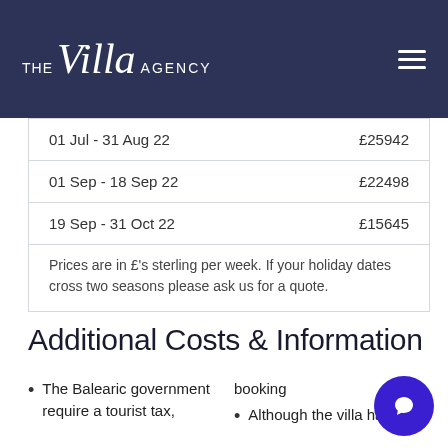THE Villa AGENCY
| Date Range | Price |
| --- | --- |
| 01 Jul - 31 Aug 22 | £25942 |
| 01 Sep - 18 Sep 22 | £22498 |
| 19 Sep - 31 Oct 22 | £15645 |
Prices are in £'s sterling per week. If your holiday dates cross two seasons please ask us for a quote.
Additional Costs & Information
The Balearic government require a tourist tax,
booking
Although the villa has a